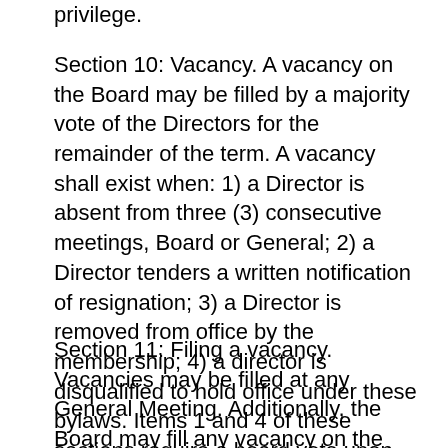privilege.
Section 10: Vacancy. A vacancy on the Board may be filled by a majority vote of the Directors for the remainder of the term. A vacancy shall exist when: 1) a Director is absent from three (3) consecutive meetings, Board or General; 2) a Director tenders a written notification of resignation; 3) a Director is removed from office by the membership; 4) a director is disqualified to hold office under these bylaws. Items 1 and 4 of these sections require a board vote upon the creation of these vacancies per ORS 65.321(9). 5) There are less than twenty (20) Directors on the Board.
Section 11: Filing a vacancy. Vacancies may be filled at any General Meeting. Additionally, the Board may fill any vacancy on the Board or committees by majority vote of the Board. A member appointed to fill a